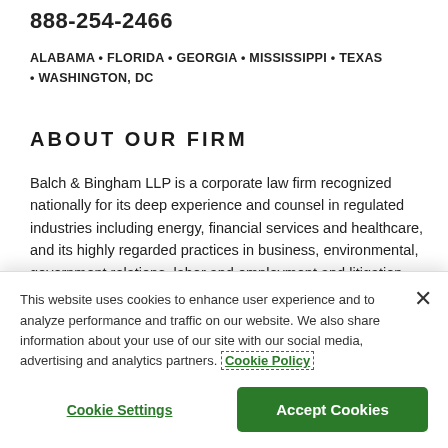888-254-2466
ALABAMA • FLORIDA • GEORGIA • MISSISSIPPI • TEXAS • WASHINGTON, DC
ABOUT OUR FIRM
Balch & Bingham LLP is a corporate law firm recognized nationally for its deep experience and counsel in regulated industries including energy, financial services and healthcare, and its highly regarded practices in business, environmental, government relations, labor and employment and litigation. The firm includes more than 200 attorneys...
This website uses cookies to enhance user experience and to analyze performance and traffic on our website. We also share information about your use of our site with our social media, advertising and analytics partners. Cookie Policy
Cookie Settings
Accept Cookies